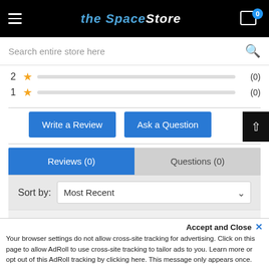The Space Store — navigation header with cart (0)
Search entire store here
2 ★ (0)
1 ★ (0)
Write a Review | Ask a Question
Reviews (0)  Questions (0)
Sort by: Most Recent
Accept and Close ✕
Your browser settings do not allow cross-site tracking for advertising. Click on this page to allow AdRoll to use cross-site tracking to tailor ads to you. Learn more or opt out of this AdRoll tracking by clicking here. This message only appears once.